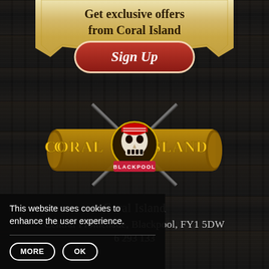[Figure (infographic): Dark wood plank background with pirate-themed decorative ribbon banner at top containing text 'Get exclusive offers from Coral Island' and a red 'Sign Up' button below it. Below is the Coral Island Blackpool skull and crossbones logo.]
Get exclusive offers from Coral Island
Sign Up
Coral Island
Central Promenade, Blackpool, FY1 5DW
6 293 133
This website uses cookies to enhance the user experience.
MORE
OK